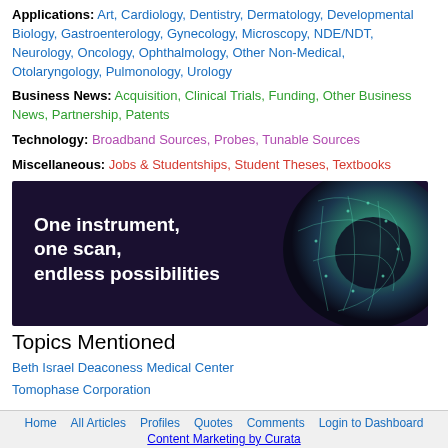Applications: Art, Cardiology, Dentistry, Dermatology, Developmental Biology, Gastroenterology, Gynecology, Microscopy, NDE/NDT, Neurology, Oncology, Ophthalmology, Other Non-Medical, Otolaryngology, Pulmonology, Urology
Business News: Acquisition, Clinical Trials, Funding, Other Business News, Partnership, Patents
Technology: Broadband Sources, Probes, Tunable Sources
Miscellaneous: Jobs & Studentships, Student Theses, Textbooks
[Figure (photo): Advertisement banner with dark purple background showing a globe/sphere with green network pattern and text: One instrument, one scan, endless possibilities]
Topics Mentioned
Beth Israel Deaconess Medical Center
Tomophase Corporation
Home  All Articles  Profiles  Quotes  Comments  Login to Dashboard  Content Marketing by Curata